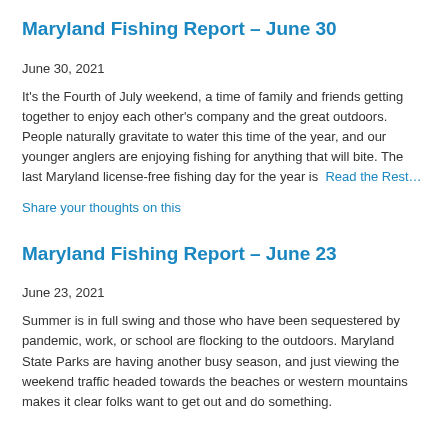Maryland Fishing Report – June 30
June 30, 2021
It's the Fourth of July weekend, a time of family and friends getting together to enjoy each other's company and the great outdoors. People naturally gravitate to water this time of the year, and our younger anglers are enjoying fishing for anything that will bite. The last Maryland license-free fishing day for the year is  Read the Rest…
Share your thoughts on this
Maryland Fishing Report – June 23
June 23, 2021
Summer is in full swing and those who have been sequestered by pandemic, work, or school are flocking to the outdoors. Maryland State Parks are having another busy season, and just viewing the weekend traffic headed towards the beaches or western mountains makes it clear folks want to get out and do something.